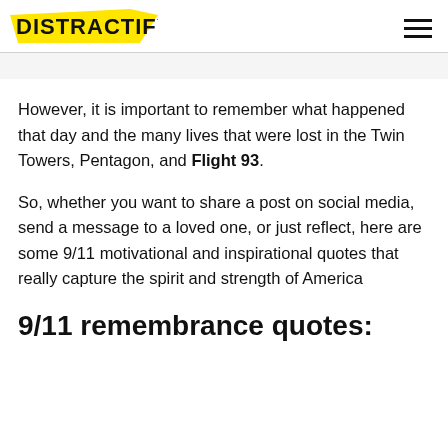DISTRACTIFY
However, it is important to remember what happened that day and the many lives that were lost in the Twin Towers, Pentagon, and Flight 93.
So, whether you want to share a post on social media, send a message to a loved one, or just reflect, here are some 9/11 motivational and inspirational quotes that really capture the spirit and strength of America
9/11 remembrance quotes: